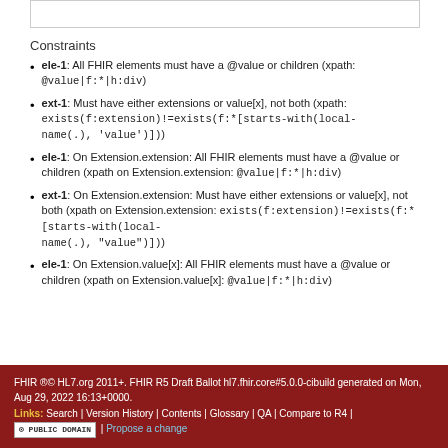Constraints
ele-1: All FHIR elements must have a @value or children (xpath: @value|f:*|h:div)
ext-1: Must have either extensions or value[x], not both (xpath: exists(f:extension)!=exists(f:*[starts-with(local-name(.), 'value')]))
ele-1: On Extension.extension: All FHIR elements must have a @value or children (xpath on Extension.extension: @value|f:*|h:div)
ext-1: On Extension.extension: Must have either extensions or value[x], not both (xpath on Extension.extension: exists(f:extension)!=exists(f:*[starts-with(local-name(.), "value")]))
ele-1: On Extension.value[x]: All FHIR elements must have a @value or children (xpath on Extension.value[x]: @value|f:*|h:div)
FHIR ®© HL7.org 2011+. FHIR R5 Draft Ballot hl7.fhir.core#5.0.0-cibuild generated on Mon, Aug 29, 2022 16:13+0000. Links: Search | Version History | Contents | Glossary | QA | Compare to R4 | [PUBLIC DOMAIN] | Propose a change